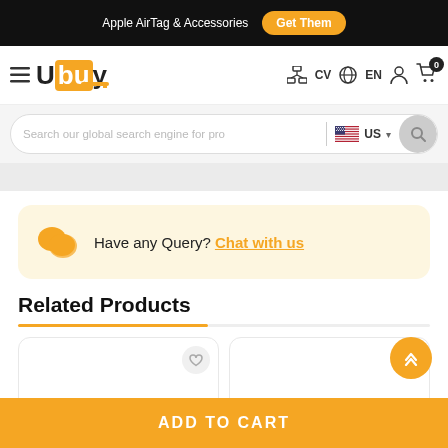Apple AirTag & Accessories  Get Them
[Figure (logo): Ubuy logo with orange box around 'bu' letters]
CV  EN  navigation icons  cart with badge 0
Search our global search engine for pro  US
Have any Query? Chat with us
Related Products
[Figure (other): Two product card placeholders with heart/wishlist icons]
ADD TO CART